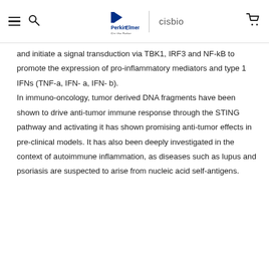PerkinElmer | cisbio
and initiate a signal transduction via TBK1, IRF3 and NF-kB to promote the expression of pro-inflammatory mediators and type 1 IFNs (TNF-a, IFN- a, IFN- b). In immuno-oncology, tumor derived DNA fragments have been shown to drive anti-tumor immune response through the STING pathway and activating it has shown promising anti-tumor effects in pre-clinical models. It has also been deeply investigated in the context of autoimmune inflammation, as diseases such as lupus and psoriasis are suspected to arise from nucleic acid self-antigens.